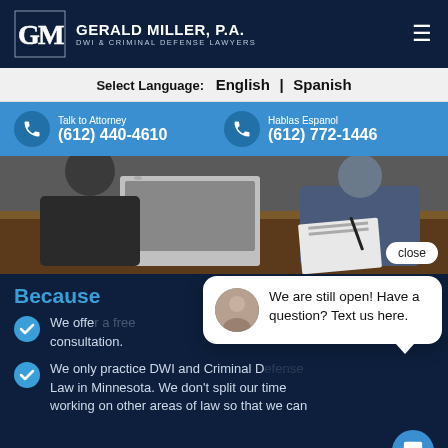GERALD MILLER, P.A. DWI & CRIMINAL DEFENSE LAWYERS
Select Language: English | Spanish
Talk to Attorney (612) 440-4610 | Hablas Espanol (612) 772-1446
[Figure (photo): People sitting at a conference table with a laptop and papers, in an office setting]
close
Because
We offe... consultation.
We only practice DWI and Criminal Defense Law in Minnesota. We don't split our time working on other areas of law so that we can
We are still open! Have a question? Text us here.